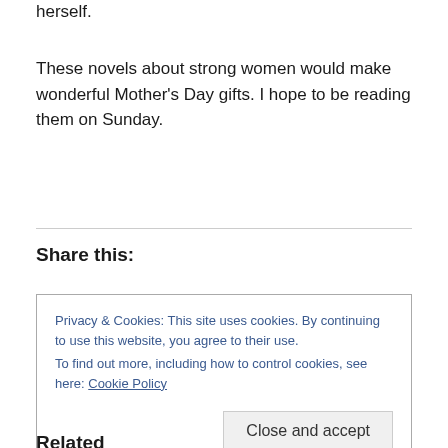herself.
These novels about strong women would make wonderful Mother's Day gifts. I hope to be reading them on Sunday.
Share this:
Privacy & Cookies: This site uses cookies. By continuing to use this website, you agree to their use.
To find out more, including how to control cookies, see here: Cookie Policy
Related